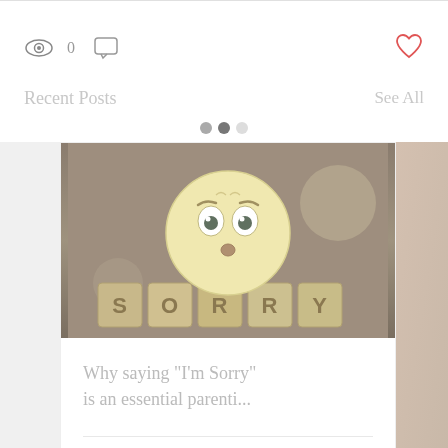[Figure (screenshot): Top action bar with eye icon showing 0 views, comment icon, and red heart icon on the right]
Recent Posts
See All
[Figure (photo): Photo of an emoji-like sad/sorry face ball sitting on wooden letter blocks spelling SORRY]
Why saying "I'm Sorry" is an essential parenti...
15  0